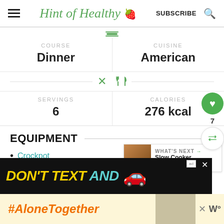Hint of Healthy — SUBSCRIBE
COURSE
Dinner
CUISINE
American
SERVINGS
6
CALORIES
276 kcal
EQUIPMENT
Crockpot